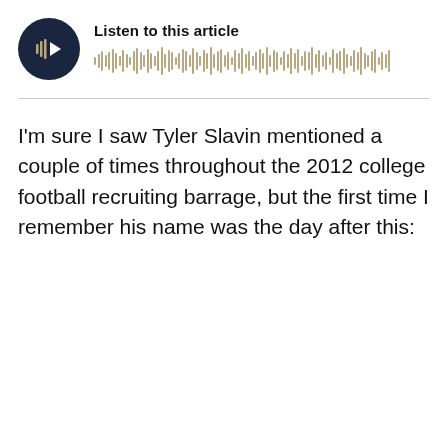[Figure (other): Audio player widget with dark circular play button icon showing sound waves and play arrow, a 'Listen to this article' label, and a waveform/progress bar made of many vertical bars in tan/gold color]
I'm sure I saw Tyler Slavin mentioned a couple of times throughout the 2012 college football recruiting barrage, but the first time I remember his name was the day after this: